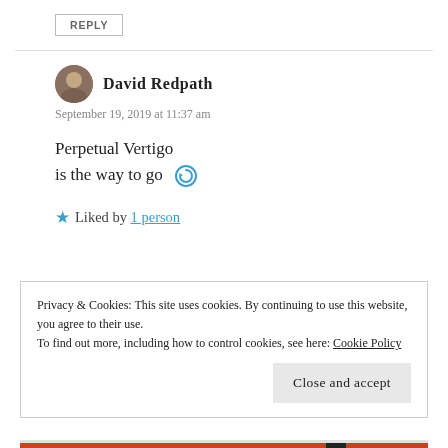REPLY
David Redpath
September 19, 2019 at 11:37 am
Perpetual Vertigo
is the way to go 🌀
Liked by 1 person
Privacy & Cookies: This site uses cookies. By continuing to use this website, you agree to their use. To find out more, including how to control cookies, see here: Cookie Policy
Close and accept